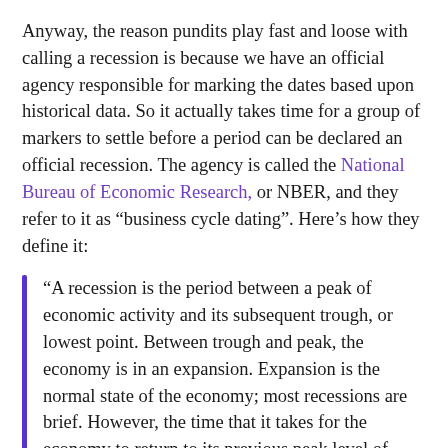Anyway, the reason pundits play fast and loose with calling a recession is because we have an official agency responsible for marking the dates based upon historical data. So it actually takes time for a group of markers to settle before a period can be declared an official recession. The agency is called the National Bureau of Economic Research, or NBER, and they refer to it as “business cycle dating”. Here’s how they define it:
“A recession is the period between a peak of economic activity and its subsequent trough, or lowest point. Between trough and peak, the economy is in an expansion. Expansion is the normal state of the economy; most recessions are brief. However, the time that it takes for the economy to return to its previous peak level of activity or its previous trend path may be quite extended.”